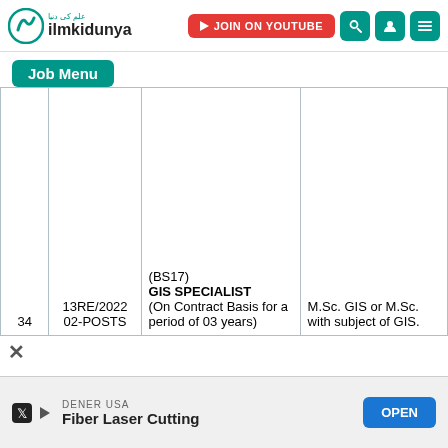ilmkidunya - JOIN ON YOUTUBE
Job Menu
| # | Post Code / Posts | Post Name | Qualification |
| --- | --- | --- | --- |
| 34 | 13RE/2022
02-POSTS | (BS17) GIS SPECIALIST (On Contract Basis for a period of 03 years) | M.Sc. GIS or M.Sc. with subject of GIS. |
DENER USA
Fiber Laser Cutting
OPEN